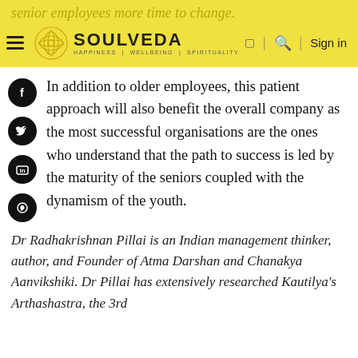senior employees more time to change.
[Figure (logo): Soulveda logo with hamburger menu, circular logo icon, text 'SOULVEDA HAPPINESS | WELLBEING | SPIRITUALITY', and Sign in button]
In addition to older employees, this patient approach will also benefit the overall company as the most successful organisations are the ones who understand that the path to success is led by the maturity of the seniors coupled with the dynamism of the youth.
Dr Radhakrishnan Pillai is an Indian management thinker, author, and Founder of Atma Darshan and Chanakya Aanvikshiki. Dr Pillai has extensively researched Kautilya's Arthashastra, the 3rd